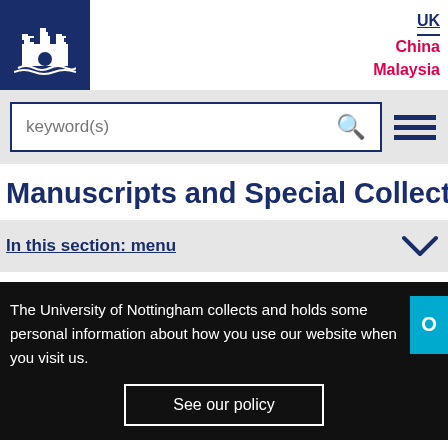[Figure (logo): University of Nottingham castle logo on dark blue background]
UK
China
Malaysia
[Figure (screenshot): Search bar with keyword(s) placeholder and magnifying glass icon, plus hamburger menu icon]
Manuscripts and Special Collections
In this section: menu
The University of Nottingham collects and holds some personal information about how you use our website when you visit us.
See our policy